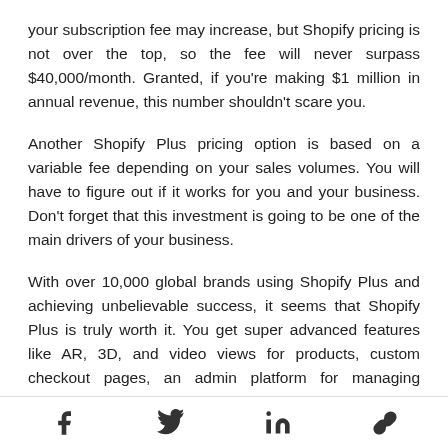your subscription fee may increase, but Shopify pricing is not over the top, so the fee will never surpass $40,000/month. Granted, if you're making $1 million in annual revenue, this number shouldn't scare you.
Another Shopify Plus pricing option is based on a variable fee depending on your sales volumes. You will have to figure out if it works for you and your business. Don't forget that this investment is going to be one of the main drivers of your business.
With over 10,000 global brands using Shopify Plus and achieving unbelievable success, it seems that Shopify Plus is truly worth it. You get super advanced features like AR, 3D, and video views for products, custom checkout pages, an admin platform for managing workflows, campaigns, discounts, and so much more.
Social share icons: Facebook, Twitter, LinkedIn, Link